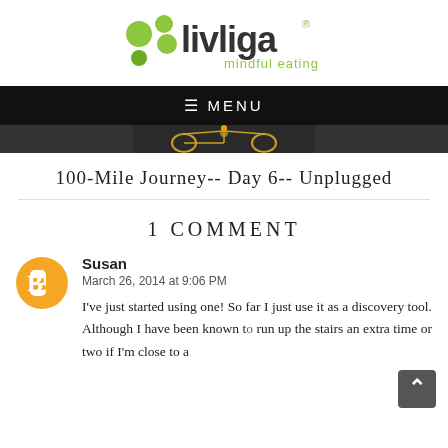[Figure (logo): Livliga mindful eating logo with green circle dots and gray/yellow-green text]
[Figure (screenshot): Black navigation bar with hamburger menu icon and MENU text in white, followed by a dark article header image strip]
100-Mile Journey-- Day 6-- Unplugged
1 COMMENT
Susan
March 26, 2014 at 9:06 PM
I've just started using one! So far I just use it as a discovery tool. Although I have been known to run up the stairs an extra time or two if I'm close to a